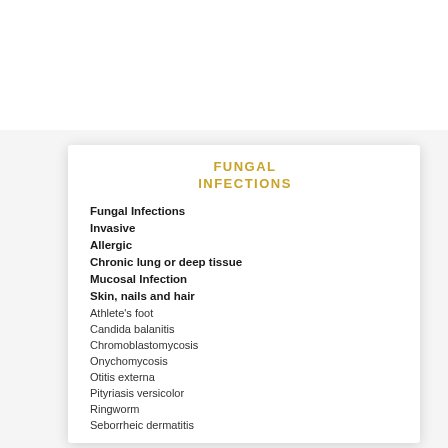[Figure (logo): LIFE - Leading International Fungal Education logo with colorful mosaic letter tiles and text]
English
FUNGAL INFECTIONS
Fungal Infections
Invasive
Allergic
Chronic lung or deep tissue
Mucosal Infection
Skin, nails and hair
Athlete's foot
Candida balanitis
Chromoblastomycosis
Onychomycosis
Otitis externa
Pityriasis versicolor
Ringworm
Seborrheic dermatitis